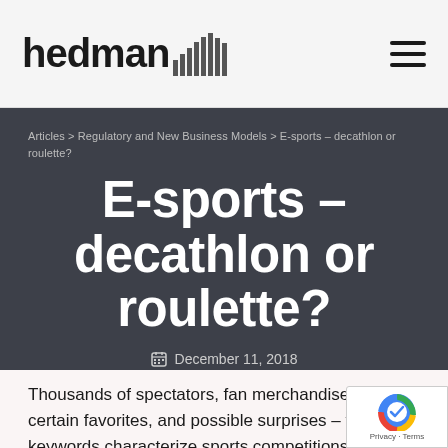hedman [logo with bars] [hamburger menu]
Articles > Regulatory and New Business Models > E-sports – decathlon or roulette?
E-sports – decathlon or roulette?
December 11, 2018
Thousands of spectators, fan merchandise, two t certain favorites, and possible surprises – these keywords characterize sports competitions.